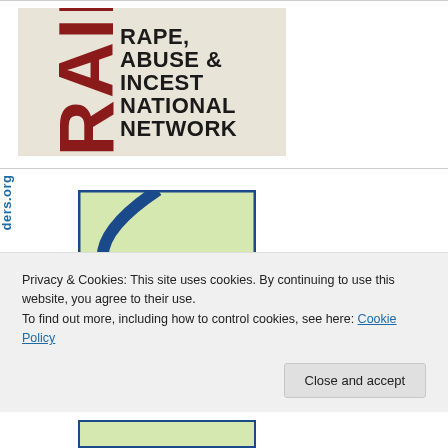[Figure (logo): RAINN logo — Rape, Abuse & Incest National Network. Large red bold vertical 'RAINN' text on left, black bold text on right reading RAPE, ABUSE & INCEST NATIONAL NETWORK, on beige/cream background.]
[Figure (screenshot): Partial screenshot showing a rotated URL text 'ders.org' in blue on the left and a partial image of a tennis ball (green with blue border) in the center.]
Privacy & Cookies: This site uses cookies. By continuing to use this website, you agree to their use.
To find out more, including how to control cookies, see here: Cookie Policy
Close and accept